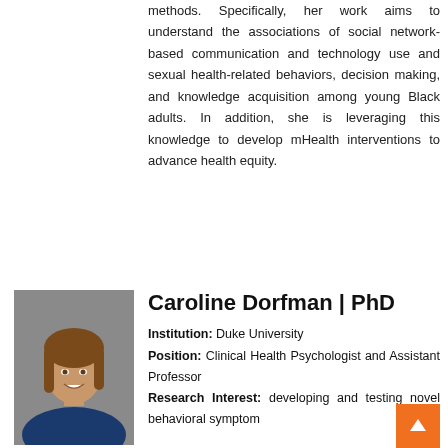methods. Specifically, her work aims to understand the associations of social network-based communication and technology use and sexual health-related behaviors, decision making, and knowledge acquisition among young Black adults. In addition, she is leveraging this knowledge to develop mHealth interventions to advance health equity.
[Figure (photo): Headshot photo of Caroline Dorfman, a woman with long brown hair smiling, wearing a dark blue top, against a grey background.]
Caroline Dorfman | PhD
Institution: Duke University
Position: Clinical Health Psychologist and Assistant Professor
Research Interest: developing and testing novel behavioral symptom